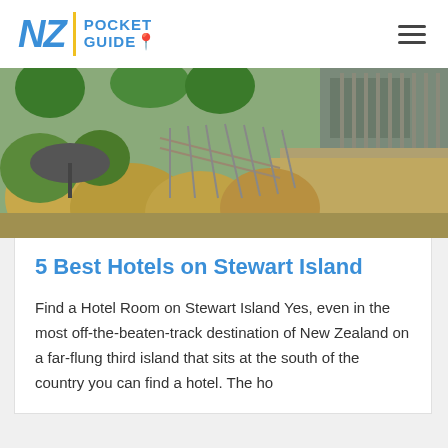NZ POCKET GUIDE
[Figure (photo): Outdoor wooden walkway/ramp with metal railings beside native New Zealand grasses and plants, with a building visible in the background. Natural landscape of Stewart Island.]
5 Best Hotels on Stewart Island
Find a Hotel Room on Stewart Island Yes, even in the most off-the-beaten-track destination of New Zealand on a far-flung third island that sits at the south of the country you can find a hotel. The ho